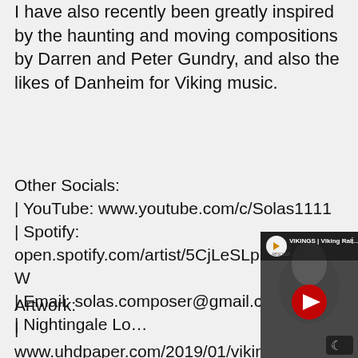I have also recently been greatly inspired by the haunting and moving compositions by Darren and Peter Gundry, and also the likes of Danheim for Viking music.
Other Socials:
| YouTube: www.youtube.com/c/Solas1111
| Spotify: open.spotify.com/artist/5CjLeSLpFNAGOe6GidTCKW
| Email: solas.composer@gmail.com
| Nightingale Lo...
Artwork:
| www.uhdpaper.com/2019/01/viking-f...840x...20.html
[Figure (screenshot): YouTube video thumbnail showing a Viking-themed black and white image with helmeted warriors. Overlay shows YouTube play button (red circle with white triangle), a channel logo (Absolut with triangle), text 'VIKINGS | Viking Rall...' and a dark mode moon icon in bottom right corner.]